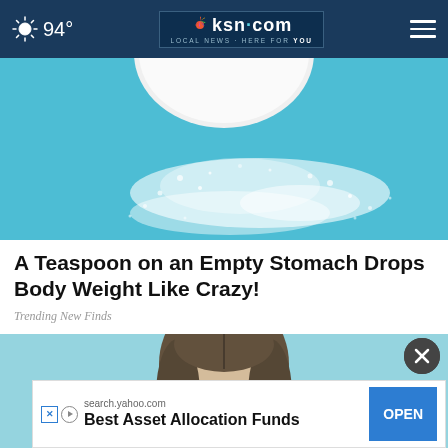94° | ksn.com LOCAL NEWS · HERE FOR YOU
[Figure (photo): Close-up photo of a bowl of white powder (sugar or salt) with powder spilled on a blue surface, viewed from above]
A Teaspoon on an Empty Stomach Drops Body Weight Like Crazy!
Trending New Finds
[Figure (photo): Young woman with long brown hair smiling, against a light blue background]
search.yahoo.com Best Asset Allocation Funds OPEN